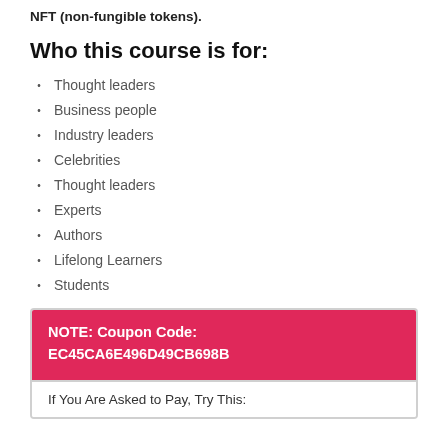NFT (non-fungible tokens).
Who this course is for:
Thought leaders
Business people
Industry leaders
Celebrities
Thought leaders
Experts
Authors
Lifelong Learners
Students
NOTE: Coupon Code:
EC45CA6E496D49CB698B
If You Are Asked to Pay, Try This: